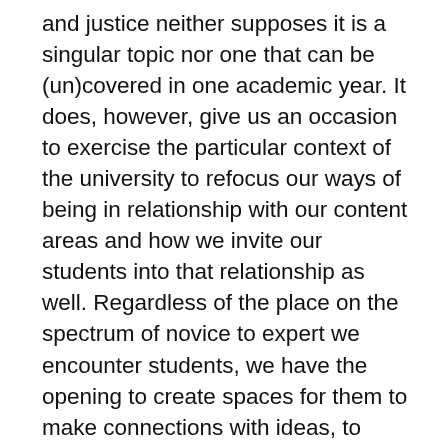and justice neither supposes it is a singular topic nor one that can be (un)covered in one academic year. It does, however, give us an occasion to exercise the particular context of the university to refocus our ways of being in relationship with our content areas and how we invite our students into that relationship as well. Regardless of the place on the spectrum of novice to expert we encounter students, we have the opening to create spaces for them to make connections with ideas, to develop proficiencies, and create new knowledges through our own unique courses and classroom spaces. When we see learning experiences through the lens of Ignatian pedagogy, each meeting with student minds is a great gift and immense responsibility to their humanity and the humanity of all those they encounter through the lenses we design with them; therefore, the partnership between teaching and